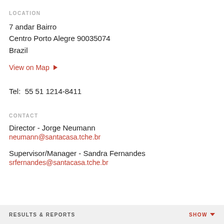LOCATION
7 andar Bairro
Centro Porto Alegre 90035074
Brazil
View on Map ▶
Tel:  55 51 1214-8411
CONTACT
Director - Jorge Neumann
neumann@santacasa.tche.br
Supervisor/Manager - Sandra Fernandes
srfernandes@santacasa.tche.br
RESULTS & REPORTS    SHOW ▼